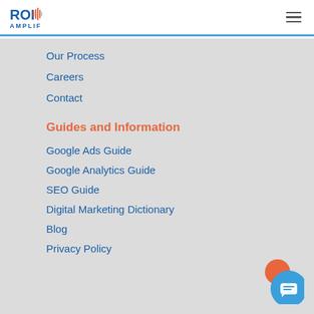ROI AMPLIFIED
Our Process
Careers
Contact
Guides and Information
Google Ads Guide
Google Analytics Guide
SEO Guide
Digital Marketing Dictionary
Blog
Privacy Policy